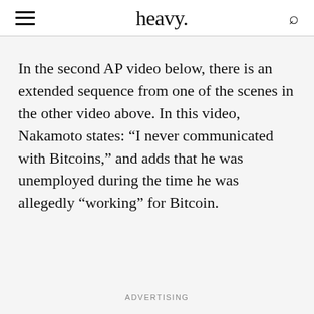heavy.
In the second AP video below, there is an extended sequence from one of the scenes in the other video above. In this video, Nakamoto states: “I never communicated with Bitcoins,” and adds that he was unemployed during the time he was allegedly “working” for Bitcoin.
ADVERTISING